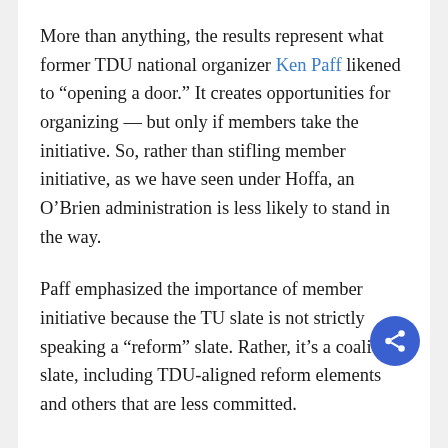More than anything, the results represent what former TDU national organizer Ken Paff likened to “opening a door.” It creates opportunities for organizing — but only if members take the initiative. So, rather than stifling member initiative, as we have seen under Hoffa, an O’Brien administration is less likely to stand in the way.
Paff emphasized the importance of member initiative because the TU slate is not strictly speaking a “reform” slate. Rather, it’s a coalition slate, including TDU-aligned reform elements and others that are less committed.
It’s a different dynamic than previous elections, in that part of the opposition slate represents a split from the incumbent leadership. O’Brien himself was elected in 2011 and 2016 as an Eastern Region VP on Hoffa’s slate, and three other TU slate members were previously Hoffa-aligned General Executive Board members. (Three Teamsters Canada VPs will also continue in their positions. They were independent of both slates but